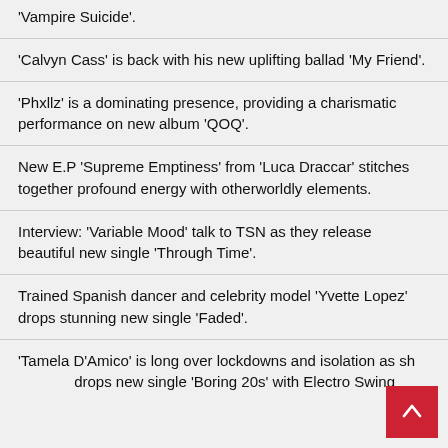'Vampire Suicide'.
'Calvyn Cass' is back with his new uplifting ballad 'My Friend'.
'Phxllz' is a dominating presence, providing a charismatic performance on new album 'QOQ'.
New E.P 'Supreme Emptiness' from 'Luca Draccar' stitches together profound energy with otherworldly elements.
Interview: 'Variable Mood' talk to TSN as they release beautiful new single 'Through Time'.
Trained Spanish dancer and celebrity model 'Yvette Lopez' drops stunning new single 'Faded'.
'Tamela D'Amico' is long over lockdowns and isolation as she drops new single 'Boring 20s' with Electro Swing